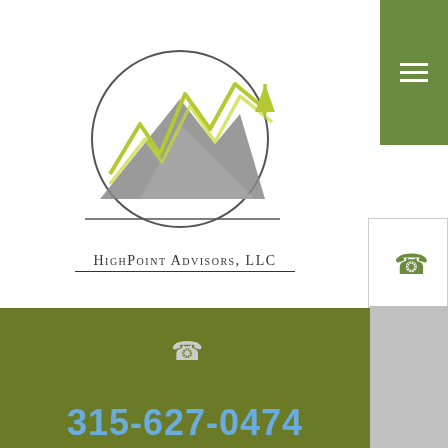[Figure (logo): HighPoint Advisors LLC logo — a circle containing a gray mountain/arrow shape with yellow-green lightning bolt lines and an upward arrow, with the company name below]
315-627-0474
info@highpointadv.com